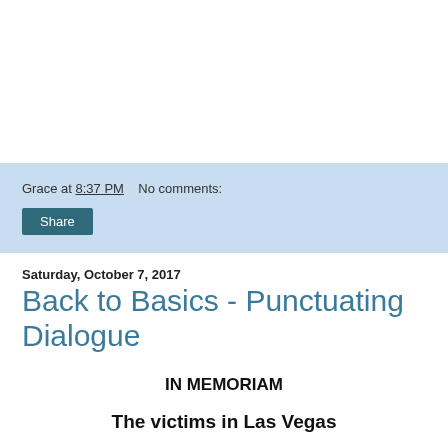Grace at 8:37 PM    No comments:
Share
Saturday, October 7, 2017
Back to Basics - Punctuating Dialogue
IN MEMORIAM
The victims in Las Vegas
----------------------------------------